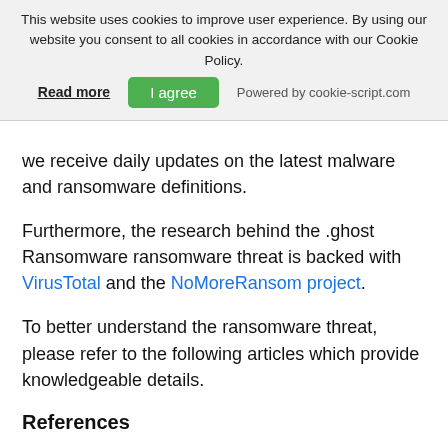This website uses cookies to improve user experience. By using our website you consent to all cookies in accordance with our Cookie Policy.
Read more | I agree | Powered by cookie-script.com
we receive daily updates on the latest malware and ransomware definitions.
Furthermore, the research behind the .ghost Ransomware ransomware threat is backed with VirusTotal and the NoMoreRansom project.
To better understand the ransomware threat, please refer to the following articles which provide knowledgeable details.
References
1. How to Recognize Spam Emails with Ransomware
2. How Does Ransomware Encryption Work?